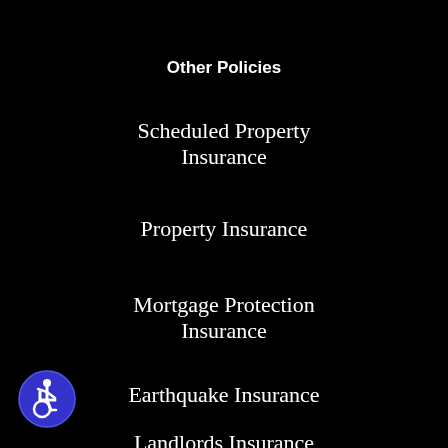Other Policies
Scheduled Property Insurance
Property Insurance
Mortgage Protection Insurance
Earthquake Insurance
Landlords Insurance
[Figure (logo): Accessibility icon - blue circle with white wheelchair user symbol]